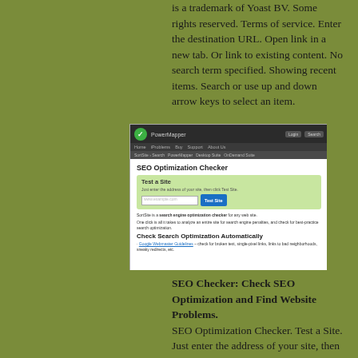is a trademark of Yoast BV. Some rights reserved. Terms of service. Enter the destination URL. Open link in a new tab. Or link to existing content. No search term specified. Showing recent items. Search or use up and down arrow keys to select an item.
[Figure (screenshot): Screenshot of PowerMapper / SortSite SEO Optimization Checker website showing 'Test a Site' form with URL input and 'Test Site' button, and 'Check Search Optimization Automatically' section with Google Webmaster Guidelines bullet.]
SEO Checker: Check SEO Optimization and Find Website Problems.
SEO Optimization Checker. Test a Site. Just enter the address of your site, then click Test Site. SortSite is a search engine optimization